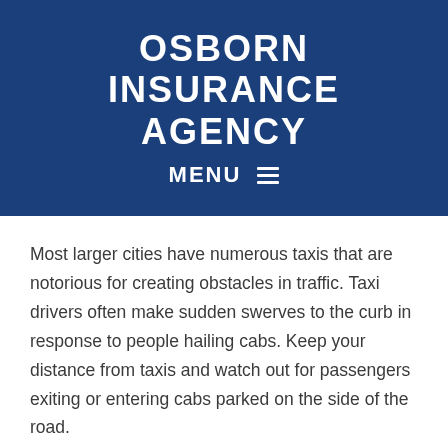OSBORN INSURANCE AGENCY
MENU
Most larger cities have numerous taxis that are notorious for creating obstacles in traffic. Taxi drivers often make sudden swerves to the curb in response to people hailing cabs. Keep your distance from taxis and watch out for passengers exiting or entering cabs parked on the side of the road.
Try to Remain Calm